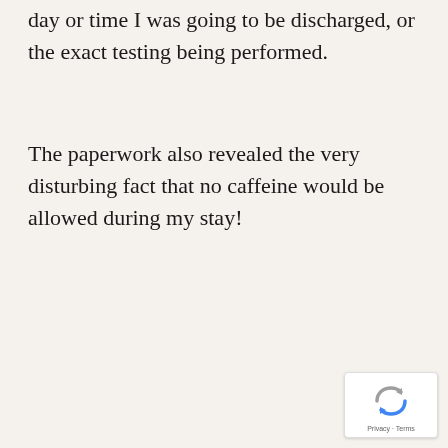day or time I was going to be discharged, or the exact testing being performed.
The paperwork also revealed the very disturbing fact that no caffeine would be allowed during my stay!
[Figure (logo): reCAPTCHA badge with Privacy and Terms links]